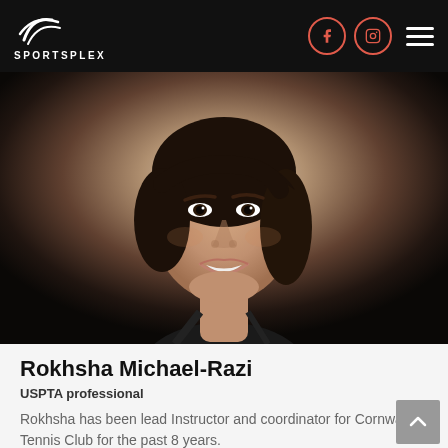SPORTSPLEX
[Figure (photo): Headshot portrait of Rokhsha Michael-Razi, a woman with short dark hair, smiling, wearing a black top, against a grey gradient background.]
Rokhsha Michael-Razi
USPTA professional
Rokhsha has been lead Instructor and coordinator for Cornwall Jr. Tennis Club for the past 8 years.